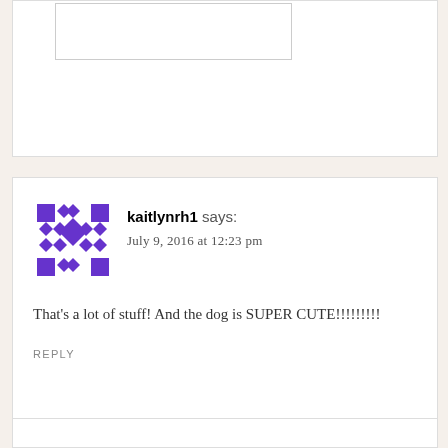[Figure (other): Partially visible comment/form box at top of page with inner white rectangle]
[Figure (other): Identicon avatar for kaitlynrh1 — purple geometric diamond/square pattern on white background]
kaitlynrh1 says:
July 9, 2016 at 12:23 pm
That's a lot of stuff! And the dog is SUPER CUTE!!!!!!!!!
REPLY